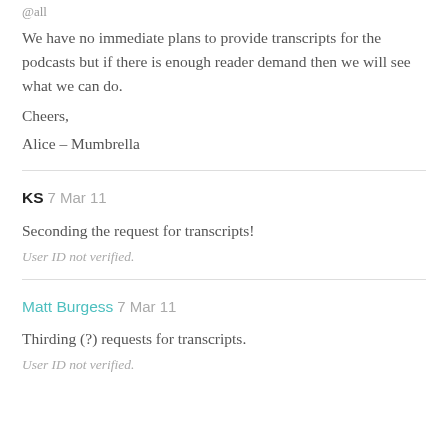@all
We have no immediate plans to provide transcripts for the podcasts but if there is enough reader demand then we will see what we can do.
Cheers,
Alice – Mumbrella
KS 7 Mar 11
Seconding the request for transcripts!
User ID not verified.
Matt Burgess 7 Mar 11
Thirding (?) requests for transcripts.
User ID not verified.